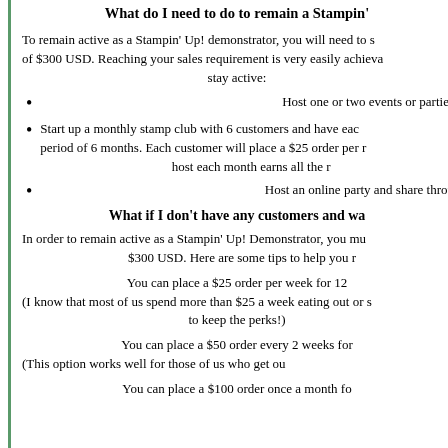What do I need to do to remain a Stampin' Up! demonstrator?
To remain active as a Stampin' Up! demonstrator, you will need to submit a minimum of $300 USD. Reaching your sales requirement is very easily achievable. Here are some ways to stay active:
Host one or two events or parties
Start up a monthly stamp club with 6 customers and have each participate for a period of 6 months. Each customer will place a $25 order per month, and whoever is host each month earns all the rewards!
Host an online party and share through social media
What if I don't have any customers and want to place my own order?
In order to remain active as a Stampin' Up! Demonstrator, you must submit a minimum of $300 USD. Here are some tips to help you reach that goal:
You can place a $25 order per week for 12 weeks. (I know that most of us spend more than $25 a week eating out or shopping, so it's easy to keep the perks!)
You can place a $50 order every 2 weeks for (This option works well for those of us who get ou
You can place a $100 order once a month fo